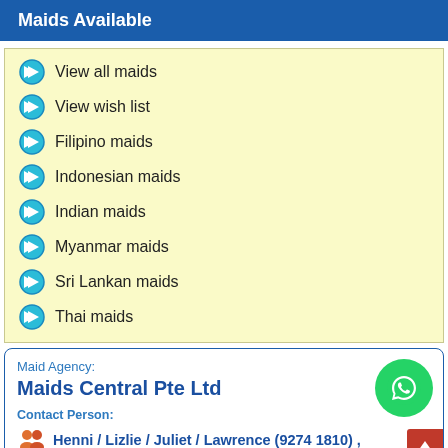Maids Available
View all maids
View wish list
Filipino maids
Indonesian maids
Indian maids
Myanmar maids
Sri Lankan maids
Thai maids
Maid Agency:
Maids Central Pte Ltd
Contact Person:
Henni / Lizlie / Juliet / Lawrence (9274 1810) ,